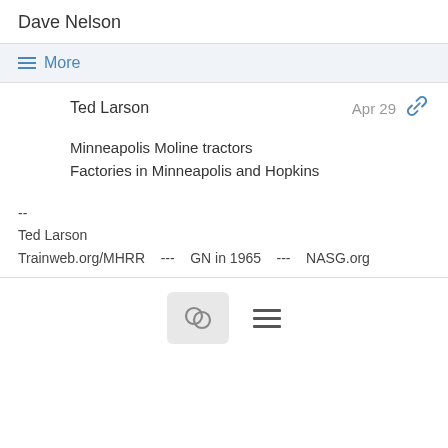Dave Nelson
≡ More
Ted Larson
Apr 29
Minneapolis Moline tractors
Factories in Minneapolis and Hopkins
--
Ted Larson
Trainweb.org/MHRR   ---   GN in 1965   ---   NASG.org